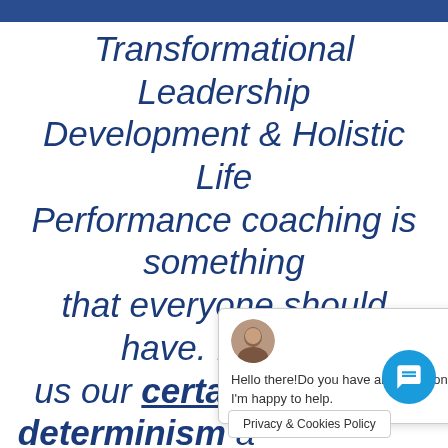Transformational Leadership Development & Holistic Life Performance coaching is something that everyone should have. It gives us our certainty determinism and hold the keys to the way we about
[Figure (screenshot): Chat popup widget with avatar photo of a bald man, close button (×), and message: 'Hello there!Do you have any questions? I'm happy to help.' Also a round blue chat button icon and a Privacy & Cookies Policy bar at the bottom.]